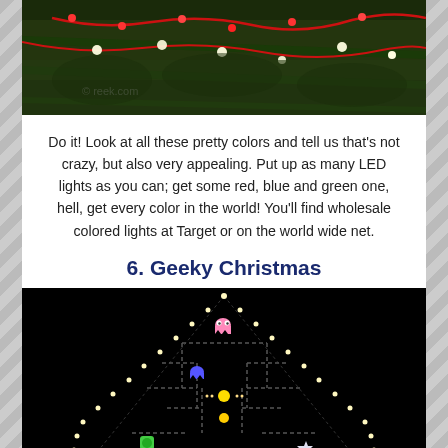[Figure (photo): Colorful Christmas lights including red, green, and white LED lights strung across evergreen branches, seen from below at night.]
Do it! Look at all these pretty colors and tell us that's not crazy, but also very appealing. Put up as many LED lights as you can; get some red, blue and green one, hell, get every color in the world! You'll find wholesale colored lights at Target or on the world wide net.
6. Geeky Christmas
[Figure (photo): A Christmas tree decorated with lights arranged in a Pac-Man maze pattern on a black background, with colorful Pac-Man ghost characters visible.]